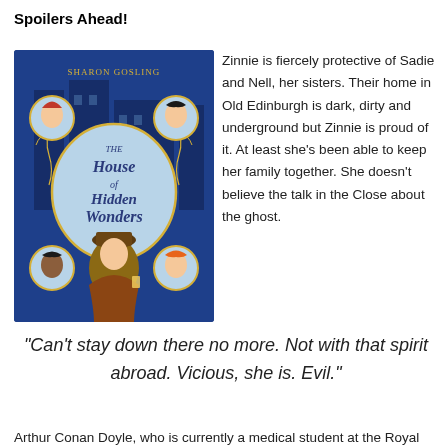Spoilers Ahead!
[Figure (illustration): Book cover of 'The House of Hidden Wonders' by Sharon Gosling. Dark blue cover featuring a boy in a brown hat and coat holding a lantern, surrounded by circular portrait medallions of three other children and gold decorative vine borders. The title is displayed in a large oval in the center.]
Zinnie is fiercely protective of Sadie and Nell, her sisters. Their home in Old Edinburgh is dark, dirty and underground but Zinnie is proud of it. At least she's been able to keep her family together. She doesn't believe the talk in the Close about the ghost.
“Can’t stay down there no more. Not with that spirit abroad. Vicious, she is. Evil.”
Arthur Conan Doyle, who is currently a medical student at the Royal